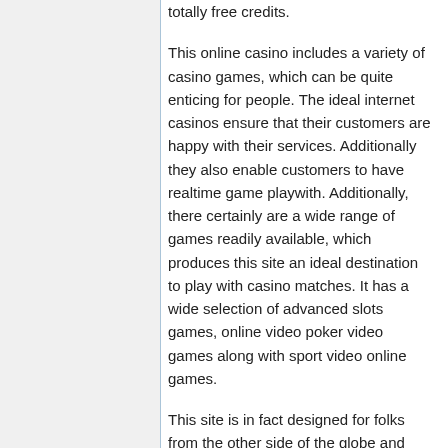totally free credits.
This online casino includes a variety of casino games, which can be quite enticing for people. The ideal internet casinos ensure that their customers are happy with their services. Additionally they also enable customers to have realtime game playwith. Additionally, there certainly are a wide range of games readily available, which produces this site an ideal destination to play with casino matches. It has a wide selection of advanced slots games, online video poker video games along with sport video online games.
This site is in fact designed for folks from the other side of the globe and anybody having an online connection can engage